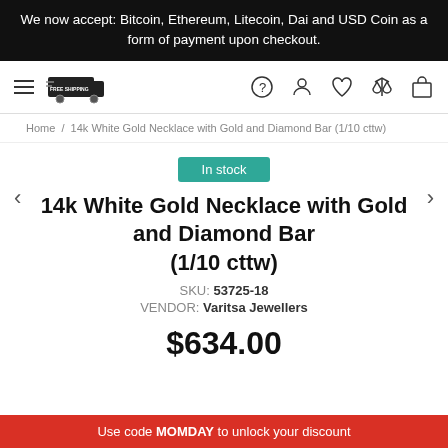We now accept: Bitcoin, Ethereum, Litecoin, Dai and USD Coin as a form of payment upon checkout.
[Figure (logo): Free Shipping logo with truck icon and hamburger menu, plus nav icons: help, user, heart, scales, shopping bag]
Home / 14k White Gold Necklace with Gold and Diamond Bar (1/10 cttw)
In stock
14k White Gold Necklace with Gold and Diamond Bar (1/10 cttw)
SKU: 53725-18
VENDOR: Varitsa Jewellers
$634.00
Use code MOMDAY to unlock your discount